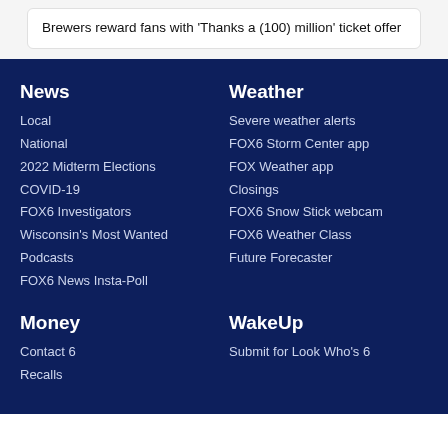Brewers reward fans with 'Thanks a (100) million' ticket offer
News
Local
National
2022 Midterm Elections
COVID-19
FOX6 Investigators
Wisconsin's Most Wanted
Podcasts
FOX6 News Insta-Poll
Weather
Severe weather alerts
FOX6 Storm Center app
FOX Weather app
Closings
FOX6 Snow Stick webcam
FOX6 Weather Class
Future Forecaster
Money
Contact 6
Recalls
WakeUp
Submit for Look Who's 6